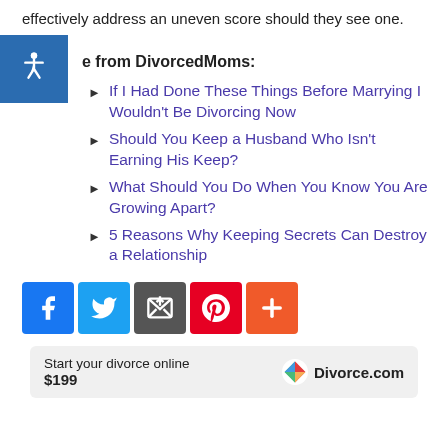effectively address an uneven score should they see one.
More from DivorcedMoms:
If I Had Done These Things Before Marrying I Wouldn't Be Divorcing Now
Should You Keep a Husband Who Isn't Earning His Keep?
What Should You Do When You Know You Are Growing Apart?
5 Reasons Why Keeping Secrets Can Destroy a Relationship
[Figure (infographic): Social sharing buttons: Facebook, Twitter, Share (email), Pinterest, and a plus/more button]
Start your divorce online $199 Divorce.com